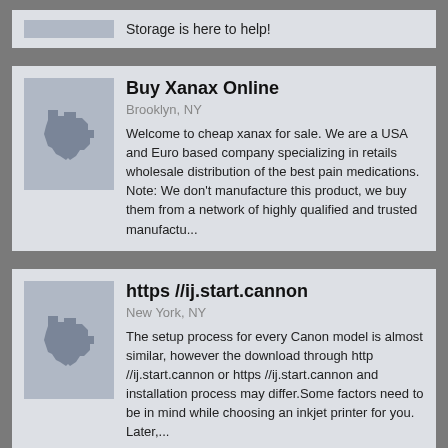Storage is here to help!
Buy Xanax Online
Brooklyn, NY
Welcome to cheap xanax for sale. We are a USA and Euro based company specializing in retails wholesale distribution of the best pain medications. Note: We don't manufacture this product, we buy them from a network of highly qualified and trusted manufactu...
https //ij.start.cannon
New York, NY
The setup process for every Canon model is almost similar, however the download through http //ij.start.cannon or https //ij.start.cannon and installation process may differ.Some factors need to be in mind while choosing an inkjet printer for you. Later,...